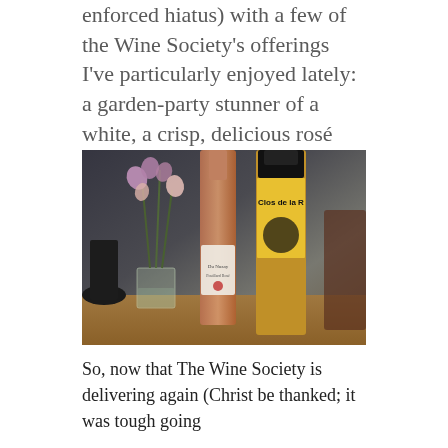enforced hiatus) with a few of the Wine Society's offerings I've particularly enjoyed lately: a garden-party stunner of a white, a crisp, delicious rosé and a bloody brilliant Beaujolais.
[Figure (photo): Two wine bottles (a rosé and a yellow-labelled Beaujolais) on a wooden table beside a glass vase with sweet pea flowers, photographed in a dark interior setting.]
So, now that The Wine Society is delivering again (Christ be thanked; it was tough going